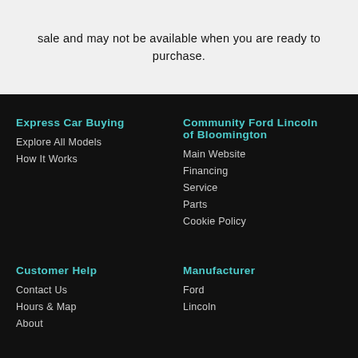sale and may not be available when you are ready to purchase.
Express Car Buying
Explore All Models
How It Works
Community Ford Lincoln of Bloomington
Main Website
Financing
Service
Parts
Cookie Policy
Customer Help
Contact Us
Hours & Map
About
Manufacturer
Ford
Lincoln